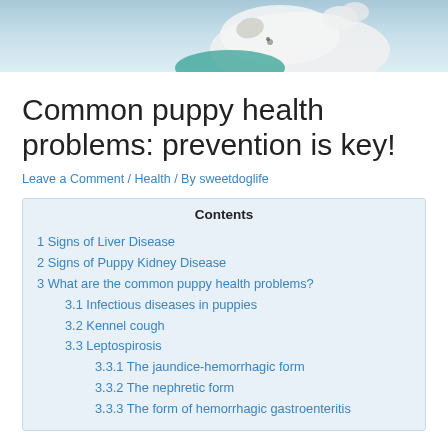[Figure (photo): Photo of a white puppy being examined or held, with teal/blue background]
Common puppy health problems: prevention is key!
Leave a Comment / Health / By sweetdoglife
| Contents |
| --- |
| 1 Signs of Liver Disease |
| 2 Signs of Puppy Kidney Disease |
| 3 What are the common puppy health problems? |
| 3.1 Infectious diseases in puppies |
| 3.2 Kennel cough |
| 3.3 Leptospirosis |
| 3.3.1 The jaundice-hemorrhagic form |
| 3.3.2 The nephretic form |
| 3.3.3 The form of hemorrhagic gastroenteritis |